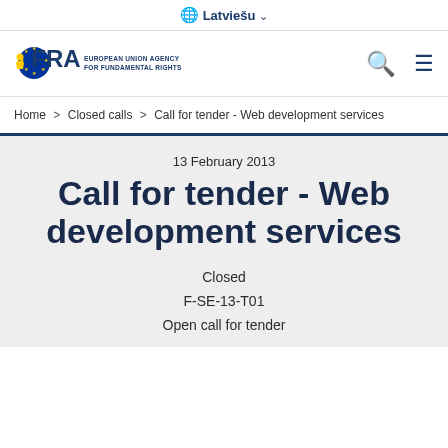Latviešu
[Figure (logo): FRA - European Union Agency for Fundamental Rights logo with EU star circle and figure icon]
Home > Closed calls > Call for tender - Web development services
13 February 2013
Call for tender - Web development services
Closed
F-SE-13-T01
Open call for tender